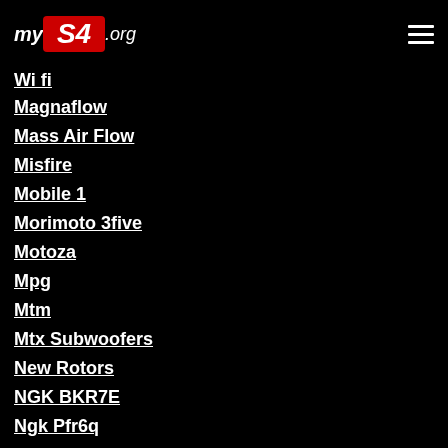myS4.org
Wi fi
Magnaflow
Mass Air Flow
Misfire
Mobile 1
Morimoto 3five
Motoza
Mpg
Mtm
Mtx Subwoofers
New Rotors
NGK BKR7E
Ngk Pfr6q
O2 Sensor
OBDII
Oil
Outer Tie Rod